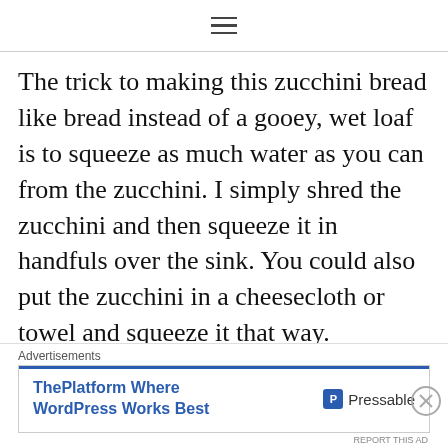≡
The trick to making this zucchini bread like bread instead of a gooey, wet loaf is to squeeze as much water as you can from the zucchini. I simply shred the zucchini and then squeeze it in handfuls over the sink. You could also put the zucchini in a cheesecloth or towel and squeeze it that way.
Once you've squeezed the water out,
[Figure (screenshot): Advertisement banner: 'ThePlatform Where WordPress Works Best' with Pressable logo]